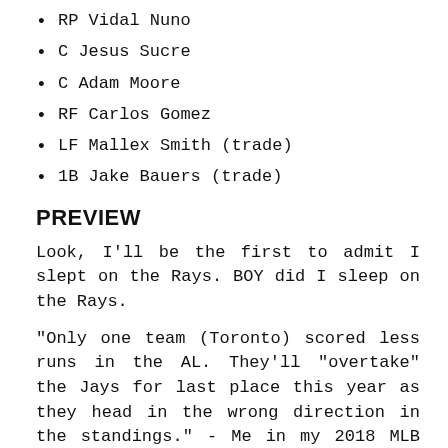RP Vidal Nuno
C Jesus Sucre
C Adam Moore
RF Carlos Gomez
LF Mallex Smith (trade)
1B Jake Bauers (trade)
PREVIEW
Look, I'll be the first to admit I slept on the Rays. BOY did I sleep on the Rays.
"Only one team (Toronto) scored less runs in the AL. They'll "overtake" the Jays for last place this year as they head in the wrong direction in the standings." - Me in my 2018 MLB preview.
The Rays are a good baseball team that nobody